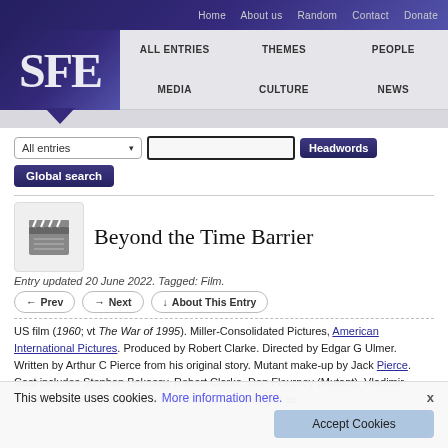Home  About us  Random  Contact  Donate
[Figure (logo): SFE logo — large white serif letters 'SFE' on dark purple/indigo background with triangular pointer]
ALL ENTRIES  THEMES  PEOPLE  MEDIA  CULTURE  NEWS
All entries [dropdown]  [search box]  Headwords  Global search
Beyond the Time Barrier
Entry updated 20 June 2022. Tagged: Film.
← Prev  → Next  ↓ About This Entry
US film (1960; vt The War of 1995). Miller-Consolidated Pictures, American International Pictures. Produced by Robert Clarke. Directed by Edgar G Ulmer. Written by Arthur C Pierce from his original story. Mutant make-up by Jack Pierce. Cast includes Stephen Bekassy, Robert Clarke, Don Flournoy (Mutant), Vladimir Sokoloff, Darlene Tompkins and Ariane Ulmer (credited as ...  Black and
This website uses cookies.  More information here.  Accept Cookies